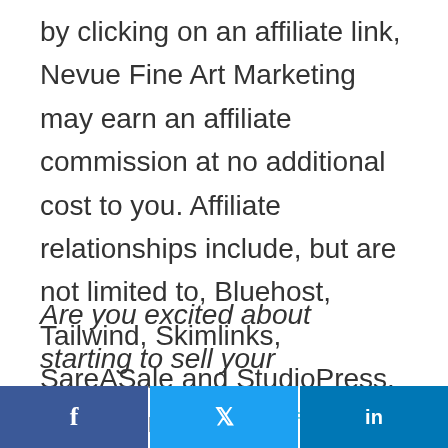by clicking on an affiliate link, Nevue Fine Art Marketing may earn an affiliate commission at no additional cost to you. Affiliate relationships include, but are not limited to, Bluehost, Tailwind, Skimlinks, SareASale and StudioPress. To learn more visit Affiliate Link Disclosure Policy
Are you excited about starting to sell your